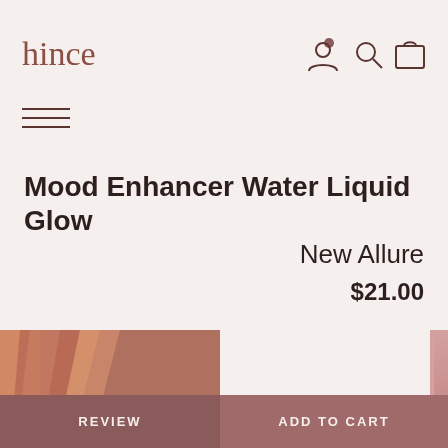hince
Mood Enhancer Water Liquid Glow
New Allure
$21.00
[Figure (photo): Product photo showing copper/bronze colored cosmetic packaging at an angle, with a pink accent on the right edge. Two call-to-action buttons at the bottom: REVIEW and ADD TO CART.]
REVIEW
ADD TO CART